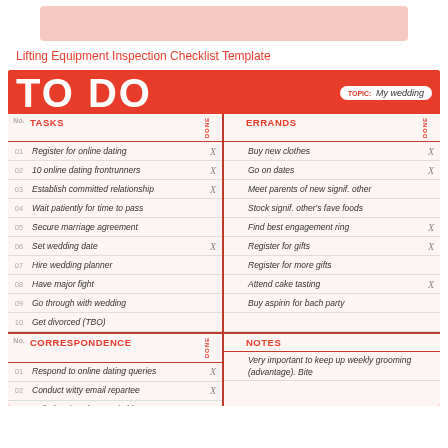[Figure (other): Pink/salmon colored placeholder image at top]
Lifting Equipment Inspection Checklist Template
[Figure (other): To Do list template with red background, topic: My wedding. Contains Tasks column (01-10) and Errands column, followed by Correspondence and Notes sections. Tasks: Register for online dating, 10 online dating frontrunners, Establish committed relationship, Wait patiently for time to pass, Secure marriage agreement, Set wedding date, Hire wedding planner, Have major fight, Go through with wedding, Get divorced (TBO). Errands: Buy new clothes, Go on dates, Meet parents of new signif. other, Stock signif. other's fave foods, Find best engagement ring, Register for gifts, Register for more gifts, Attend cake tasting, Buy aspirin for bach party. Correspondence: Respond to online dating queries, Conduct witty email repartee, [cut off]. Notes: Very important to keep up weekly grooming (advantage). Bite [cut off].]